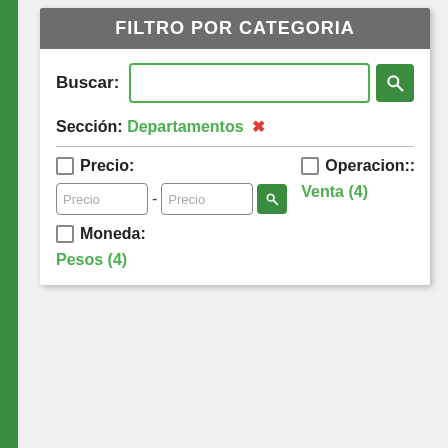FILTRO POR CATEGORIA
Buscar:
Sección: Departamentos ✗
Precio:
Operacion:: Venta (4)
Moneda: Pesos (4)